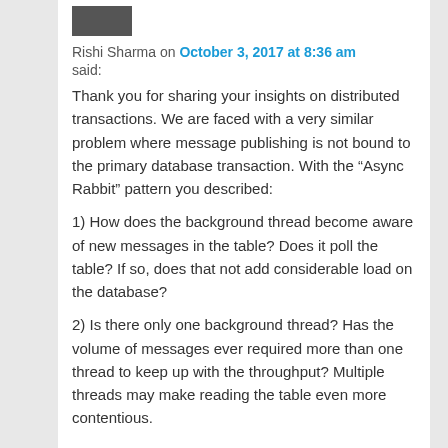[Figure (photo): Small avatar photo of Rishi Sharma]
Rishi Sharma on October 3, 2017 at 8:36 am
said:
Thank you for sharing your insights on distributed transactions. We are faced with a very similar problem where message publishing is not bound to the primary database transaction. With the “Async Rabbit” pattern you described:
1) How does the background thread become aware of new messages in the table? Does it poll the table? If so, does that not add considerable load on the database?
2) Is there only one background thread? Has the volume of messages ever required more than one thread to keep up with the throughput? Multiple threads may make reading the table even more contentious.